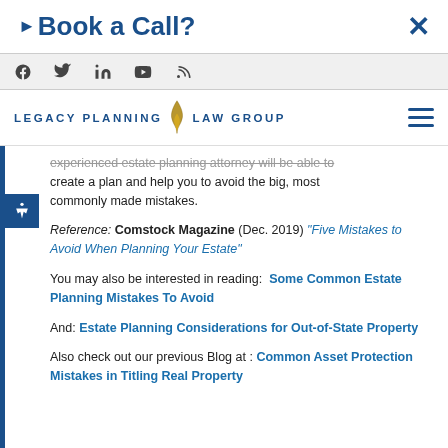Book a Call?
Social media icons: Facebook, Twitter, LinkedIn, YouTube, RSS
LEGACY PLANNING LAW GROUP
experienced estate planning attorney will be able to create a plan and help you to avoid the big, most commonly made mistakes.
Reference: Comstock Magazine (Dec. 2019) "Five Mistakes to Avoid When Planning Your Estate"
You may also be interested in reading: Some Common Estate Planning Mistakes To Avoid
And: Estate Planning Considerations for Out-of-State Property
Also check out our previous Blog at : Common Asset Protection Mistakes in Titling Real Property